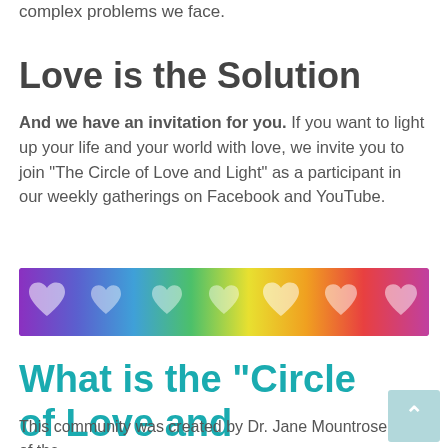complex problems we face.
Love is the Solution
And we have an invitation for you. If you want to light up your life and your world with love, we invite you to join “The Circle of Love and Light” as a participant in our weekly gatherings on Facebook and YouTube.
[Figure (illustration): A horizontal rainbow banner with colorful heart shapes in spectral order from purple/violet on the left through blue, green, yellow, orange, red, and pink on the right.]
What is the “Circle of Love and Light”?
This community was created by Dr. Jane Mountrose, one of the